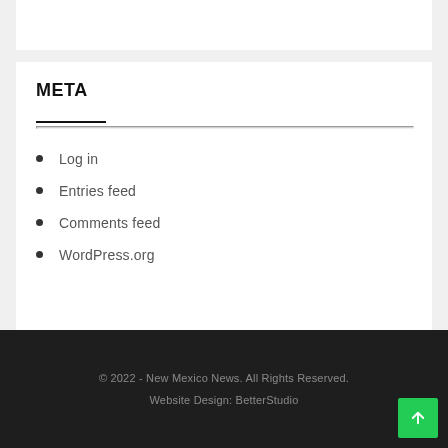META
Log in
Entries feed
Comments feed
WordPress.org
© 2022 - New Mexico News. All Rights Reserved. Website Design: BetterStudio